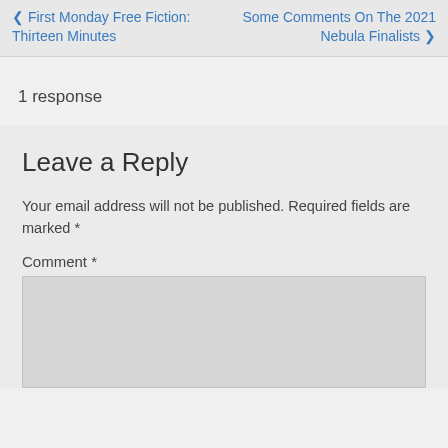< First Monday Free Fiction: Thirteen Minutes    Some Comments On The 2021 Nebula Finalists >
1 response
Leave a Reply
Your email address will not be published. Required fields are marked *
Comment *